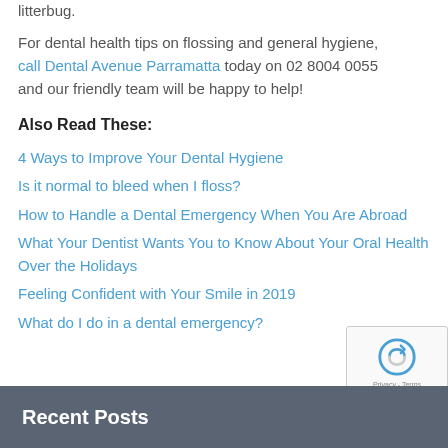litterbug.
For dental health tips on flossing and general hygiene, call Dental Avenue Parramatta today on 02 8004 0055 and our friendly team will be happy to help!
Also Read These:
4 Ways to Improve Your Dental Hygiene
Is it normal to bleed when I floss?
How to Handle a Dental Emergency When You Are Abroad
What Your Dentist Wants You to Know About Your Oral Health Over the Holidays
Feeling Confident with Your Smile in 2019
What do I do in a dental emergency?
Recent Posts